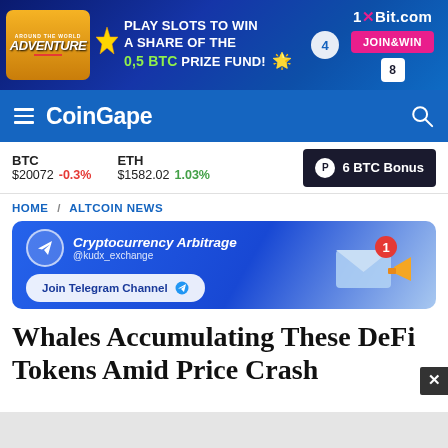[Figure (screenshot): Top banner ad for 1xBit.com featuring 'Around the World Adventure' slot game. Text: 'PLAY SLOTS TO WIN A SHARE OF THE 0,5 BTC PRIZE FUND!' with JOIN&WIN button.]
CoinGape
BTC $20072 -0.3%  ETH $1582.02 1.03%
[Figure (screenshot): 6 BTC Bonus button advertisement]
HOME / ALTCOIN NEWS
[Figure (screenshot): Cryptocurrency Arbitrage @kudx_exchange Join Telegram Channel advertisement banner]
Whales Accumulating These DeFi Tokens Amid Price Crash